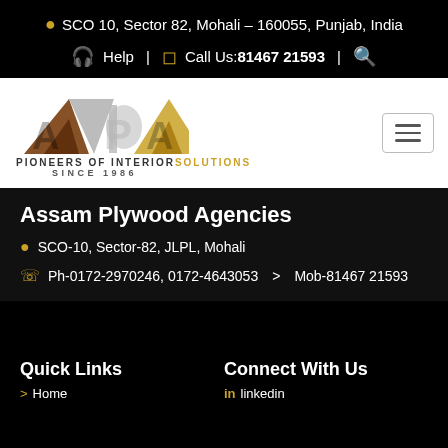SCO 10, Sector 82, Mohali – 160055, Punjab, India
Help | Call Us:81467 21593
[Figure (logo): APA logo with triangular shapes in wood and stone textures, PIONEERS OF INTERIOR SOLUTIONS SINCE 1986]
Assam Plywood Agencies
SCO-10, Sector-82, JLPL, Mohali
Ph-0172-2970246, 0172-4643053   >   Mob-81467 21593
Quick Links
Connect With Us
Home
LinkedIn